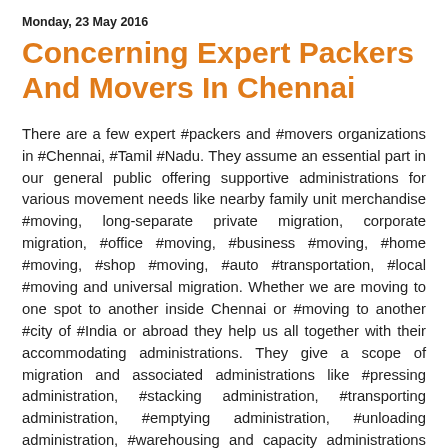Monday, 23 May 2016
Concerning Expert Packers And Movers In Chennai
There are a few expert #packers and #movers organizations in #Chennai, #Tamil #Nadu. They assume an essential part in our general public offering supportive administrations for various movement needs like nearby family unit merchandise #moving, long-separate private migration, corporate migration, #office #moving, #business #moving, #home #moving, #shop #moving, #auto #transportation, #local #moving and universal migration. Whether we are moving to one spot to another inside Chennai or #moving to another #city of #India or abroad they help us all together with their accommodating administrations. They give a scope of migration and associated administrations like #pressing administration, #stacking administration, #transporting administration, #emptying administration, #unloading administration, #warehousing and capacity administrations and merchandise protection administration, #pet #moving administration, #plant #moving administration, furniture moving administration and furthermore the off full